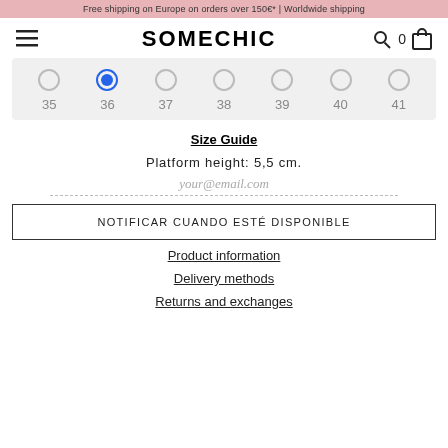Free shipping on Europe on orders over 150€* | Worldwide shipping
[Figure (logo): SOMECHIC logo with hamburger menu, search icon, cart count 0, and bag icon]
[Figure (other): Size selector with 7 radio buttons for sizes 35–41, with size 36 selected (blue)]
Size Guide
Platform height: 5,5 cm.
your@email.com
NOTIFICAR CUANDO ESTÉ DISPONIBLE
Product information
Delivery methods
Returns and exchanges